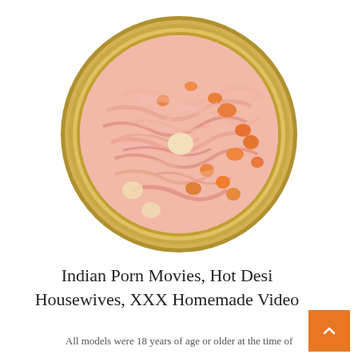[Figure (photo): A round open tin can viewed from above, containing shredded pink chicken or tuna meat with orange carrot or vegetable pieces, set against a white background. The can has a gold/yellow metallic rim.]
Indian Porn Movies, Hot Desi Housewives, XXX Homemade Video
All models were 18 years of age or older at the time of